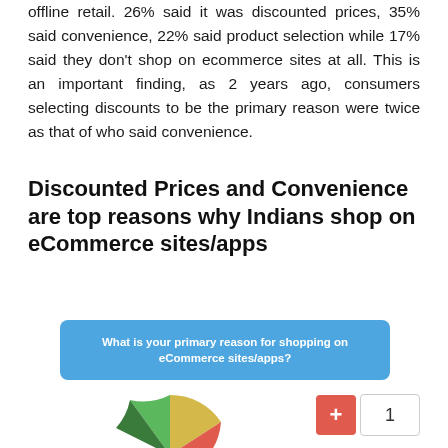offline retail. 26% said it was discounted prices, 35% said convenience, 22% said product selection while 17% said they don't shop on ecommerce sites at all. This is an important finding, as 2 years ago, consumers selecting discounts to be the primary reason were twice as that of who said convenience.
Discounted Prices and Convenience are top reasons why Indians shop on eCommerce sites/apps
[Figure (other): A question box in blue reading 'What is your primary reason for shopping on eCommerce sites/apps?' followed by a partially visible pie chart showing colored segments (yellow, red, green) at the bottom of the page.]
+ 1